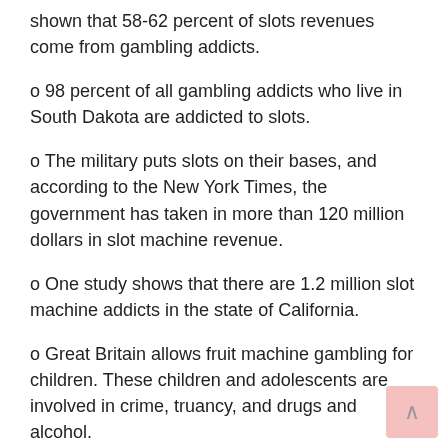shown that 58-62 percent of slots revenues come from gambling addicts.
o 98 percent of all gambling addicts who live in South Dakota are addicted to slots.
o The military puts slots on their bases, and according to the New York Times, the government has taken in more than 120 million dollars in slot machine revenue.
o One study shows that there are 1.2 million slot machine addicts in the state of California.
o Great Britain allows fruit machine gambling for children. These children and adolescents are involved in crime, truancy, and drugs and alcohol.